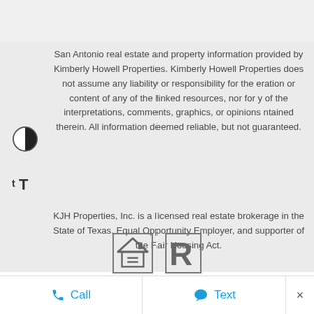San Antonio real estate and property information provided by Kimberly Howell Properties. Kimberly Howell Properties does not assume any liability or responsibility for the eration or content of any of the linked resources, nor for y of the interpretations, comments, graphics, or opinions ntained therein. All information deemed reliable, but not guaranteed.
KJH Properties, Inc. is a licensed real estate brokerage in the State of Texas, Equal Opportunity Employer, and supporter of the Fair Housing Act.
[Figure (logo): Equal Housing Opportunity logo (house with equals sign) and Realtor logo (R in rectangle)]
Call   Text   ×